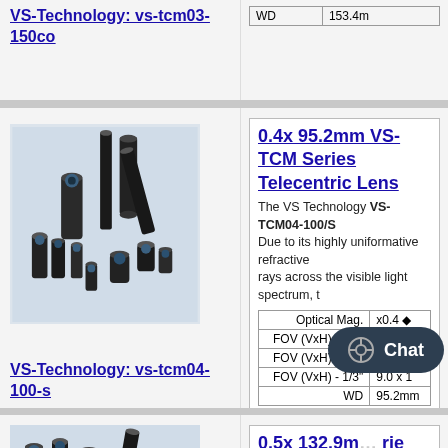VS-Technology: vs-tcm03-150co
|  |  |
| --- | --- |
| WD | 153.4mm |
[Figure (photo): Group of black telecentric lenses of various sizes arranged together]
0.4x 95.2mm VS-TCM Series Telecentric Lens
The VS Technology VS-TCM04-100/S Due to its highly uniformative refractive rays across the visible light spectrum, t
| Optical Mag. | x0.4 |
| --- | --- |
| FOV (VxH) - 2/3" | 16.5 x |
| FOV (VxH) - 1/2" | 12.0 x |
| FOV (VxH) - 1/3" | 9.0 x 1 |
| WD | 95.2mm |
VS-Technology: vs-tcm04-100-s
[Figure (photo): Group of black telecentric lenses of various sizes, partial view at bottom]
0.5x 132.9mm VS-TCM Series Telecentric Lens
The VS Technology VS-TCM05-130/S